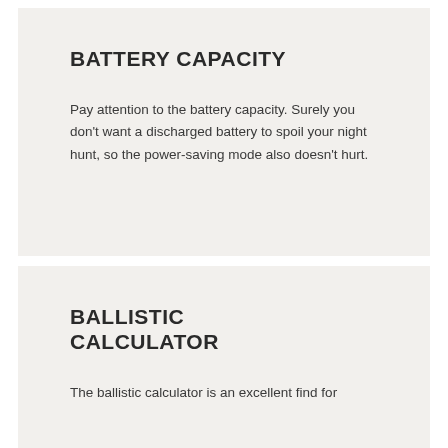BATTERY CAPACITY
Pay attention to the battery capacity. Surely you don't want a discharged battery to spoil your night hunt, so the power-saving mode also doesn't hurt.
BALLISTIC CALCULATOR
The ballistic calculator is an excellent find for